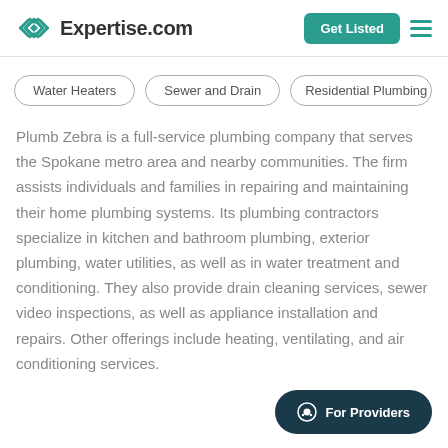Expertise.com
Water Heaters
Sewer and Drain
Residential Plumbing
Plumb Zebra is a full-service plumbing company that serves the Spokane metro area and nearby communities. The firm assists individuals and families in repairing and maintaining their home plumbing systems. Its plumbing contractors specialize in kitchen and bathroom plumbing, exterior plumbing, water utilities, as well as in water treatment and conditioning. They also provide drain cleaning services, sewer video inspections, as well as appliance installation and repairs. Other offerings include heating, ventilating, and air conditioning services.